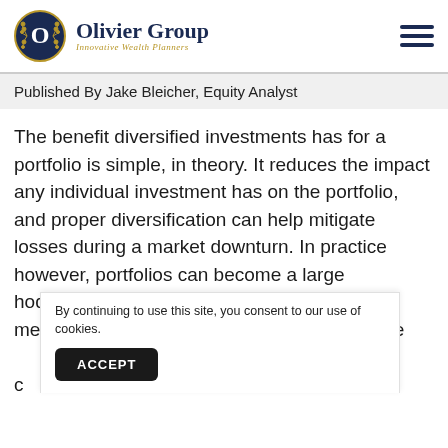Olivier Group – Innovative Wealth Planners
Published By Jake Bleicher, Equity Analyst
The benefit diversified investments has for a portfolio is simple, in theory. It reduces the impact any individual investment has on the portfolio, and proper diversification can help mitigate losses during a market downturn. In practice however, portfolios can become a large hodgepodge of various assets rather than a methodical allocation. The key is to reduce the c... p...
By continuing to use this site, you consent to our use of cookies.